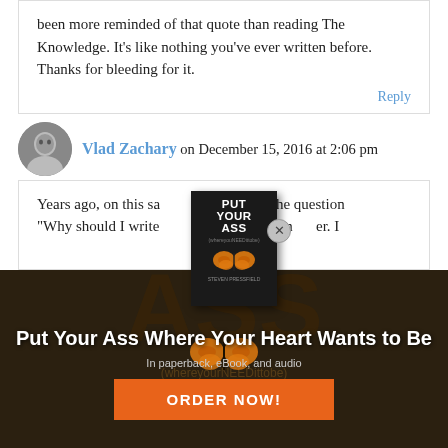been more reminded of that quote than reading The Knowledge. It’s like nothing you’ve ever written before. Thanks for bleeding for it.
Reply
Vlad Zachary on December 15, 2016 at 2:06 pm
Years ago, on this sa… asked the question “Why should I write… you gave the an…er. I
[Figure (illustration): Book cover popup for 'Put Your Ass Where Your Heart Wants to Be' with a close button]
[Figure (photo): Dark background advertisement section with large text overlay]
Put Your Ass Where Your Heart Wants to Be
In paperback, eBook, and audio
ORDER NOW!